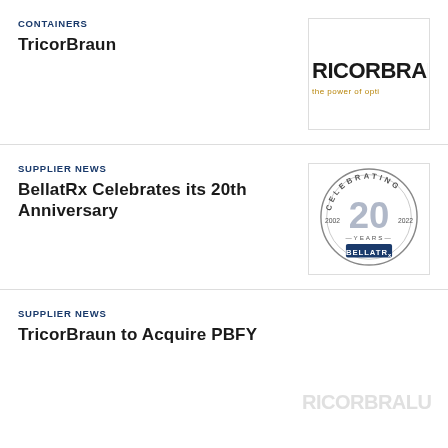CONTAINERS
TricorBraun
[Figure (logo): TricorBraun logo — dark text 'TRICORBRA' with gold accent and tagline 'the power of opti']
SUPPLIER NEWS
BellatRx Celebrates its 20th Anniversary
[Figure (logo): BellatRx 20th anniversary seal, circular badge reading 'CELEBRATING 20 YEARS 2002–2022' with BellatRx logo]
SUPPLIER NEWS
TricorBraun to Acquire PBFY
[Figure (logo): Faint TricorBraun watermark logo in light gray]